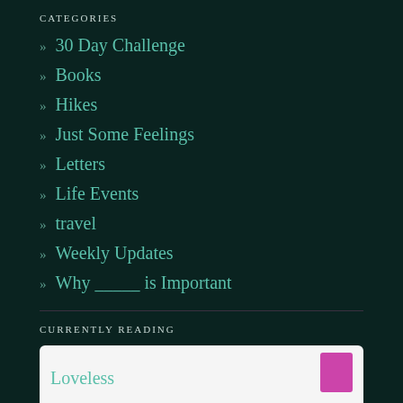CATEGORIES
» 30 Day Challenge
» Books
» Hikes
» Just Some Feelings
» Letters
» Life Events
» travel
» Weekly Updates
» Why _____ is Important
CURRENTLY READING
Loveless